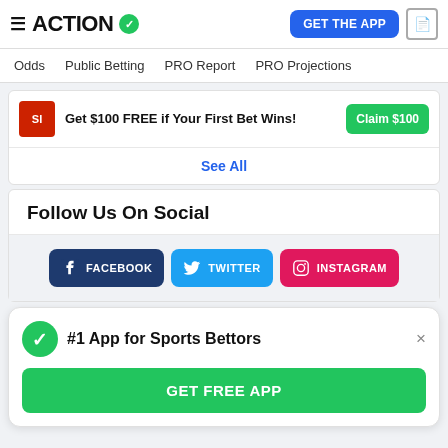ACTION
Odds  Public Betting  PRO Report  PRO Projections
Get $100 FREE if Your First Bet Wins!
Claim $100
See All
Follow Us On Social
FACEBOOK  TWITTER  INSTAGRAM
#1 App for Sports Bettors
GET FREE APP